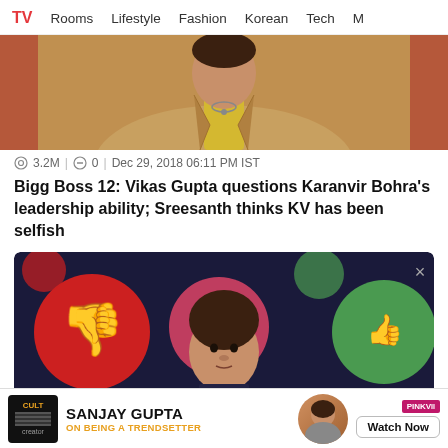TV  Rooms  Lifestyle  Fashion  Korean  Tech  M
[Figure (photo): Partial photo of a man wearing a tan/beige jacket over a yellow shirt, cropped at chest level]
3.2M  |  0  |  Dec 29, 2018 06:11 PM IST
Bigg Boss 12: Vikas Gupta questions Karanvir Bohra's leadership ability; Sreesanth thinks KV has been selfish
[Figure (photo): Young man in dark setting with large colorful thumbs-up/thumbs-down circular icons on a dark navy background, from Bigg Boss 12 show]
[Figure (photo): Advertisement banner: Cult Creator logo, Sanjay Gupta on being a trendsetter, with Watch Now button and PinkVilla badge]